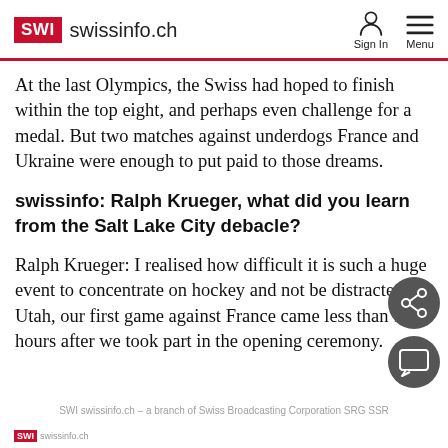SWI swissinfo.ch | Sign In  Menu
At the last Olympics, the Swiss had hoped to finish within the top eight, and perhaps even challenge for a medal. But two matches against underdogs France and Ukraine were enough to put paid to those dreams.
swissinfo: Ralph Krueger, what did you learn from the Salt Lake City debacle?
Ralph Krueger: I realised how difficult it is such a huge event to concentrate on hockey and not be distracted. In Utah, our first game against France came less than 15 hours after we took part in the opening ceremony.
SWI swissinfo.ch – a branch of Swiss Broadcasting Corporation SRG SSR